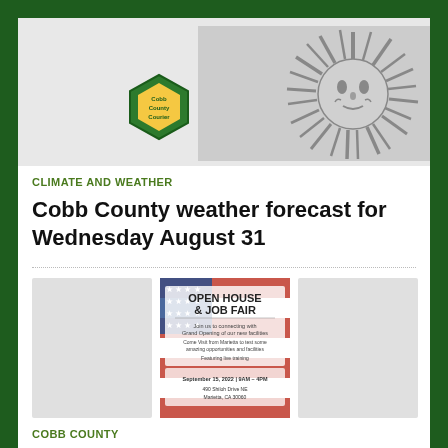[Figure (photo): Hero image showing a decorative sun face illustration (etched/engraved style) with Cobb County Courier hexagonal logo overlay, on a light gray background]
CLIMATE AND WEATHER
Cobb County weather forecast for Wednesday August 31
[Figure (photo): Three thumbnail images in a row: left gray placeholder, center shows an Open House & Job Fair flyer with American flag colors, right gray placeholder]
COBB COUNTY
Cobb elections open house and job fair to